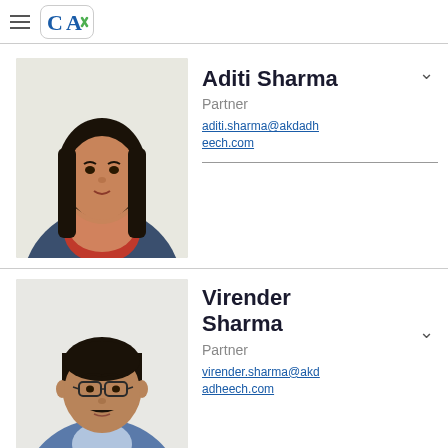CA logo header with hamburger menu
[Figure (photo): Professional headshot of Aditi Sharma, a woman in a blue blazer with a floral scarf]
Aditi Sharma
Partner
aditi.sharma@akdadheech.com
[Figure (photo): Professional headshot of Virender Sharma, a man wearing glasses]
Virender Sharma
Partner
virender.sharma@akdadheech.com